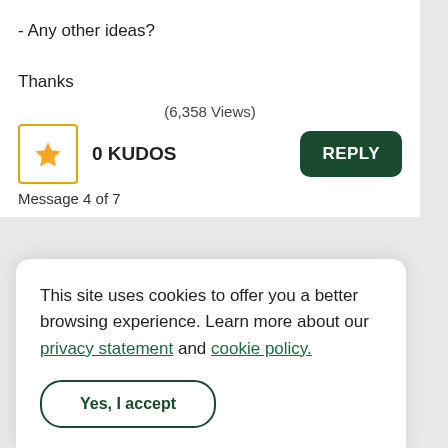- Any other ideas?
Thanks
(6,358 Views)
0 KUDOS
Message 4 of 7
This site uses cookies to offer you a better browsing experience. Learn more about our privacy statement and cookie policy.